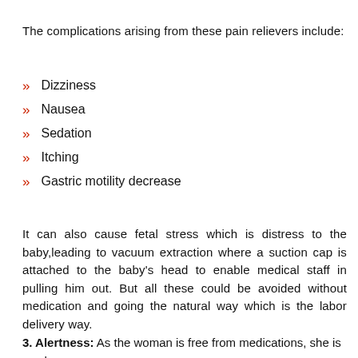The complications arising from these pain relievers include:
Dizziness
Nausea
Sedation
Itching
Gastric motility decrease
It can also cause fetal stress which is distress to the baby,leading to vacuum extraction where a suction cap is attached to the baby's head to enable medical staff in pulling him out. But all these could be avoided without medication and going the natural way which is the labor delivery way.
3. Alertness: As the woman is free from medications, she is awake